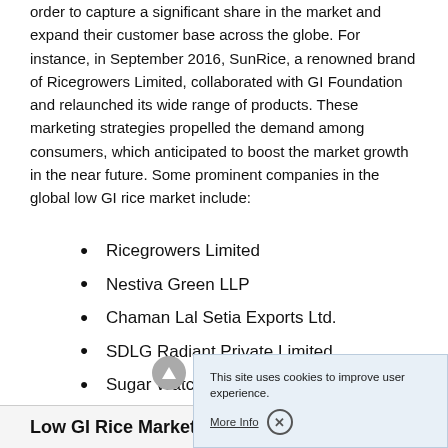order to capture a significant share in the market and expand their customer base across the globe. For instance, in September 2016, SunRice, a renowned brand of Ricegrowers Limited, collaborated with GI Foundation and relaunched its wide range of products. These marketing strategies propelled the demand among consumers, which anticipated to boost the market growth in the near future. Some prominent companies in the global low GI rice market include:
Ricegrowers Limited
Nestiva Green LLP
Chaman Lal Setia Exports Ltd.
SDLG Radiant Private Limited
Sugar Watchers
First Choice Foods P...
Low GI Rice Market Report S...